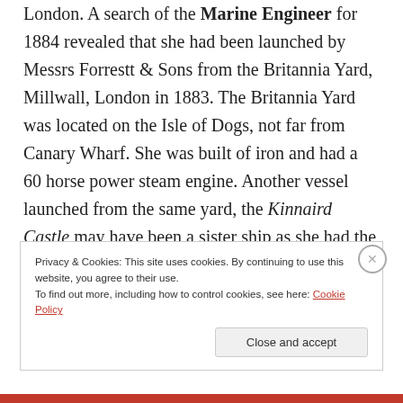London. A search of the Marine Engineer for 1884 revealed that she had been launched by Messrs Forrestt & Sons from the Britannia Yard, Millwall, London in 1883. The Britannia Yard was located on the Isle of Dogs, not far from Canary Wharf. She was built of iron and had a 60 horse power steam engine. Another vessel launched from the same yard, the Kinnaird Castle may have been a sister ship as she had the same dimensions.
Privacy & Cookies: This site uses cookies. By continuing to use this website, you agree to their use. To find out more, including how to control cookies, see here: Cookie Policy
Close and accept